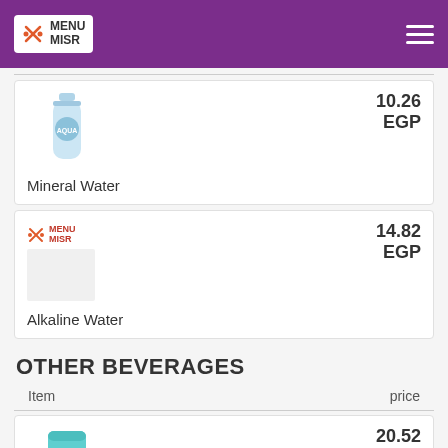MENU MISR
[Figure (photo): Bottle of mineral water]
10.26 EGP
Mineral Water
[Figure (logo): Menu Misr logo placeholder for Alkaline Water]
14.82 EGP
Alkaline Water
OTHER BEVERAGES
| Item | price |
| --- | --- |
[Figure (photo): Teal/turquoise drink cup]
20.52 EGP